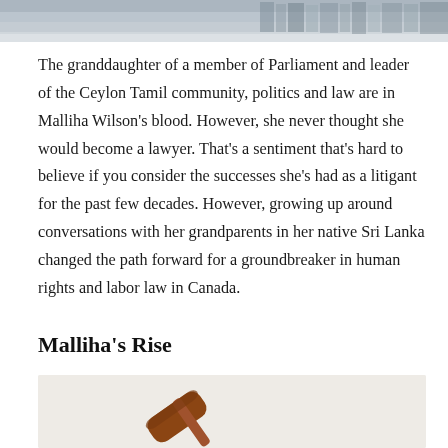[Figure (photo): Top portion of a photo showing stacked books or documents on a surface, cropped at the top of the page.]
The granddaughter of a member of Parliament and leader of the Ceylon Tamil community, politics and law are in Malliha Wilson's blood. However, she never thought she would become a lawyer. That's a sentiment that's hard to believe if you consider the successes she's had as a litigant for the past few decades. However, growing up around conversations with her grandparents in her native Sri Lanka changed the path forward for a groundbreaker in human rights and labor law in Canada.
Malliha's Rise
[Figure (photo): Bottom portion of a photo showing a wooden gavel on a light background, partially cropped at the bottom of the page.]